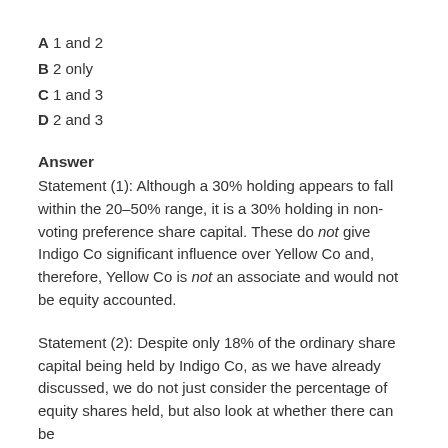A 1 and 2
B 2 only
C 1 and 3
D 2 and 3
Answer
Statement (1): Although a 30% holding appears to fall within the 20–50% range, it is a 30% holding in non-voting preference share capital. These do not give Indigo Co significant influence over Yellow Co and, therefore, Yellow Co is not an associate and would not be equity accounted.
Statement (2): Despite only 18% of the ordinary share capital being held by Indigo Co, as we have already discussed, we do not just consider the percentage of equity shares held, but also look at whether there can be